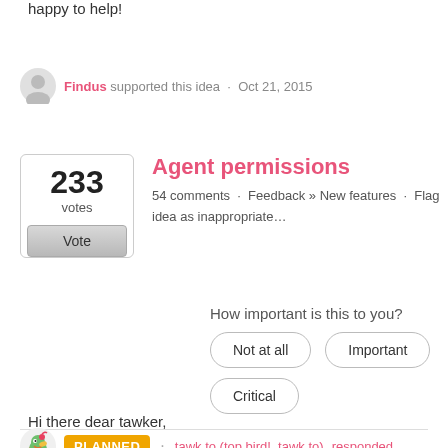happy to help!
Findus supported this idea · Oct 21, 2015
Agent permissions
54 comments · Feedback » New features · Flag idea as inappropriate…
How important is this to you?
Not at all
Important
Critical
PLANNED · tawk.to (top bird!, tawk.to) responded
Hi there dear tawker,